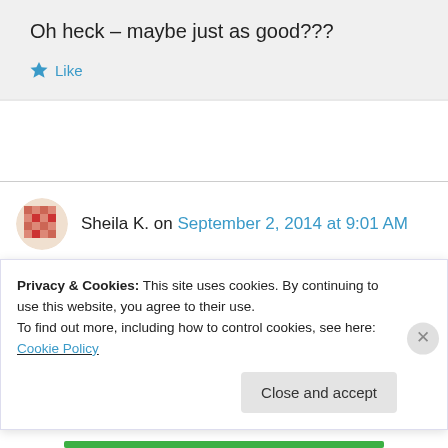Oh heck – maybe just as good???
★ Like
Sheila K. on September 2, 2014 at 9:01 AM
I would love to read this book—thanks for the opportunity to win a copy!
Privacy & Cookies: This site uses cookies. By continuing to use this website, you agree to their use.
To find out more, including how to control cookies, see here: Cookie Policy
Close and accept